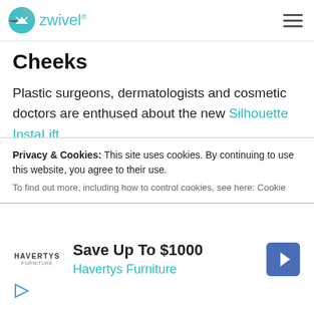Zwivel
Cheeks
Plastic surgeons, dermatologists and cosmetic doctors are enthused about the new Silhouette InstaLift.
This minimally-invasive lifting procedure uses resorbable suspension sutures to lift saggy skin on the lower face, jowls, cheeks and neck into a younger-looking position.
Privacy & Cookies: This site uses cookies. By continuing to use this website, you agree to their use.
To find out more, including how to control cookies, see here: Cookie
Save Up To $1000 Havertys Furniture